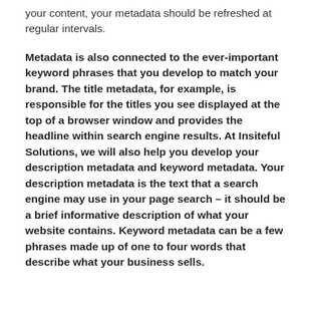your content, your metadata should be refreshed at regular intervals.
Metadata is also connected to the ever-important keyword phrases that you develop to match your brand. The title metadata, for example, is responsible for the titles you see displayed at the top of a browser window and provides the headline within search engine results. At Insiteful Solutions, we will also help you develop your description metadata and keyword metadata. Your description metadata is the text that a search engine may use in your page search – it should be a brief informative description of what your website contains. Keyword metadata can be a few phrases made up of one to four words that describe what your business sells.